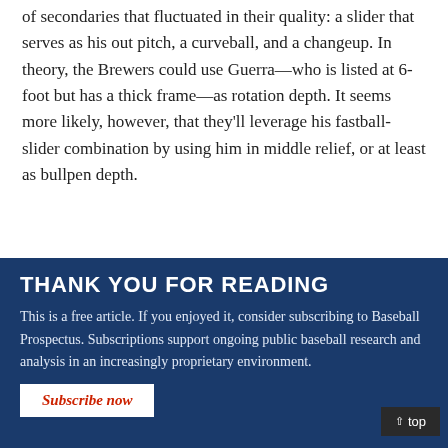of secondaries that fluctuated in their quality: a slider that serves as his out pitch, a curveball, and a changeup. In theory, the Brewers could use Guerra—who is listed at 6-foot but has a thick frame—as rotation depth. It seems more likely, however, that they'll leverage his fastball-slider combination by using him in middle relief, or at least as bullpen depth.
THANK YOU FOR READING
This is a free article. If you enjoyed it, consider subscribing to Baseball Prospectus. Subscriptions support ongoing public baseball research and analysis in an increasingly proprietary environment.